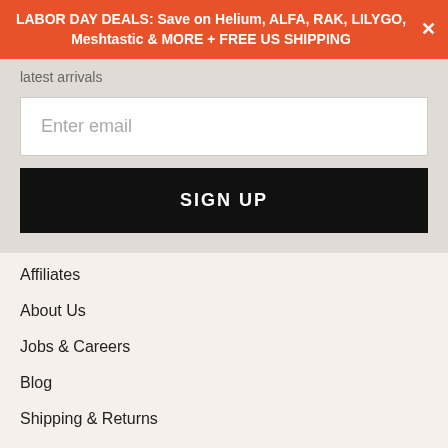LABOR DAY DEALS: Save on Helium, ALFA, RAK, LILYGO, Meshtastic & MORE + FREE US SHIPPING
latest arrivals
Enter email
SIGN UP
Affiliates
About Us
Jobs & Careers
Blog
Shipping & Returns
Support
Subscribe
Log in / Register